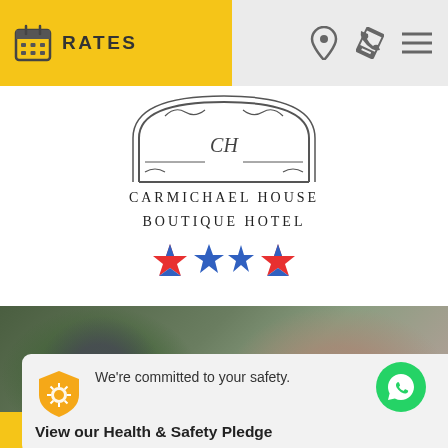RATES
[Figure (logo): Carmichael House Boutique Hotel semicircular arch logo with 'C H' monogram]
CARMICHAEL HOUSE
BOUTIQUE HOTEL
We're committed to your safety.
View our Health & Safety Pledge
This website uses cookies to ensure you get the best experience on our website.
Learn more
Close this message